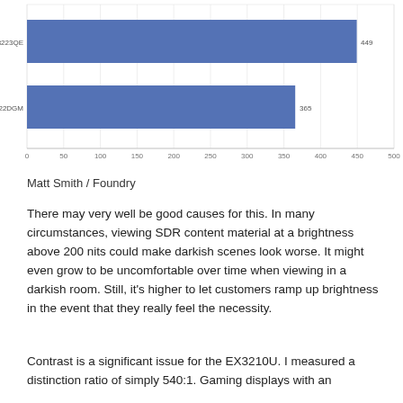[Figure (bar-chart): ]
Matt Smith / Foundry
There may very well be good causes for this. In many circumstances, viewing SDR content material at a brightness above 200 nits could make darkish scenes look worse. It might even grow to be uncomfortable over time when viewing in a darkish room. Still, it's higher to let customers ramp up brightness in the event that they really feel the necessity.
Contrast is a significant issue for the EX3210U. I measured a distinction ratio of simply 540:1. Gaming displays with an